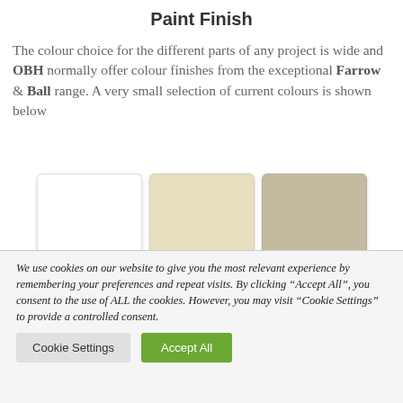Paint Finish
The colour choice for the different parts of any project is wide and OBH normally offer colour finishes from the exceptional Farrow & Ball range. A very small selection of current colours is shown below
[Figure (illustration): Three paint colour swatches: white, cream/off-white, and taupe/grey-beige]
We use cookies on our website to give you the most relevant experience by remembering your preferences and repeat visits. By clicking "Accept All", you consent to the use of ALL the cookies. However, you may visit "Cookie Settings" to provide a controlled consent.
Cookie Settings | Accept All